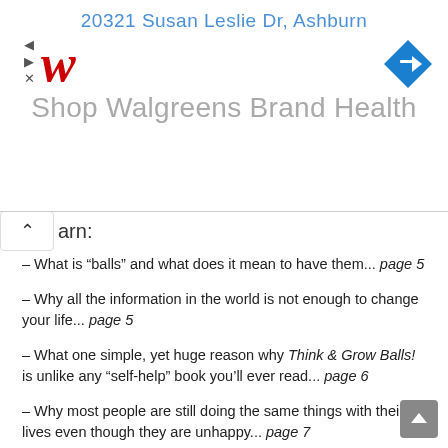[Figure (screenshot): Walgreens advertisement banner showing address '20321 Susan Leslie Dr, Ashburn', Walgreens logo, navigation icon, and tagline 'Shop Walgreens Brand Health']
arn:
– What is “balls” and what does it mean to have them... page 5
– Why all the information in the world is not enough to change your life... page 5
– What one simple, yet huge reason why Think & Grow Balls! is unlike any “self-help” book you’ll ever read... page 6
– Why most people are still doing the same things with their lives even though they are unhappy... page 7
– What you can “do” so you will be perceived as